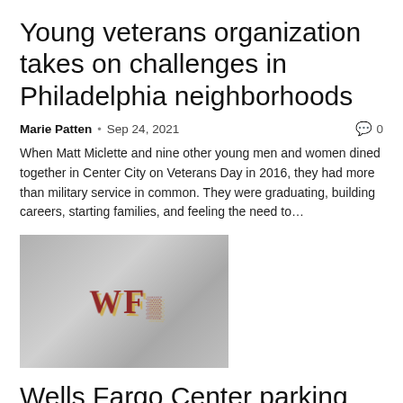Young veterans organization takes on challenges in Philadelphia neighborhoods
Marie Patten  •  Sep 24, 2021  🗨 0
When Matt Miclette and nine other young men and women dined together in Center City on Veterans Day in 2016, they had more than military service in common. They were graduating, building careers, starting families, and feeling the need to…
[Figure (photo): Photo of a Wells Fargo building exterior sign with large dark red letters 'WF' against a grey panel wall, cloudy sky in background]
Wells Fargo Center parking lots